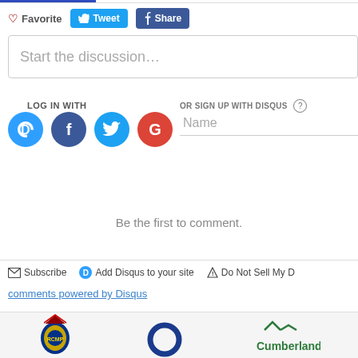Favorite
Tweet
Share
Start the discussion…
LOG IN WITH
OR SIGN UP WITH DISQUS
Name
Be the first to comment.
Subscribe
Add Disqus to your site
Do Not Sell My D
comments powered by Disqus